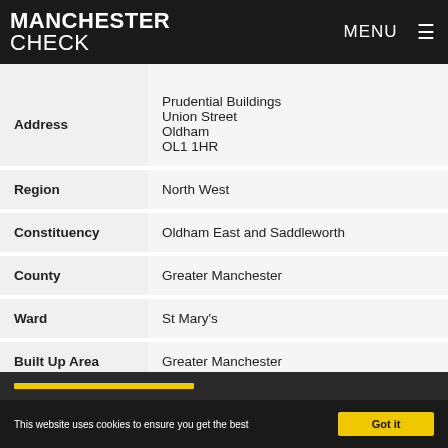MANCHESTER CHECK | MENU
| Field | Value |
| --- | --- |
| Address | Prudential Buildings
Union Street
Oldham
OL1 1HR |
| Region | North West |
| Constituency | Oldham East and Saddleworth |
| County | Greater Manchester |
| Ward | St Mary's |
| Built Up Area | Greater Manchester |
This website uses cookies to ensure you get the best